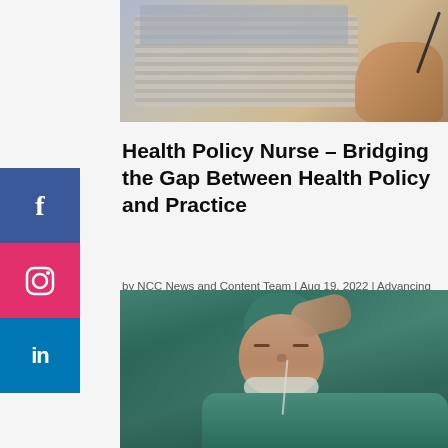[Figure (photo): Photo of hands working at a laptop/desk with keyboard and pen, top of page]
Health Policy Nurse – Bridging the Gap Between Health Policy and Practice
by NCC News and Content Team | Aug 19, 2022 | Advancing Your Career, Legal / Ethical, Specialties
[Figure (photo): Photo of a stressed male nurse or doctor in teal scrubs and surgical cap, hand on forehead with eyes closed and mask pulled down]
[Figure (logo): Social media sidebar with Facebook, Instagram, and LinkedIn buttons]